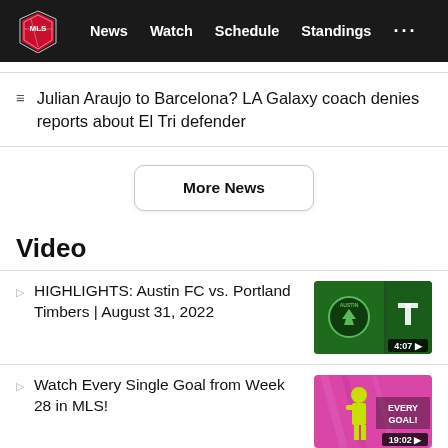MLS — News  Watch  Schedule  Standings  ...
Julian Araujo to Barcelona? LA Galaxy coach denies reports about El Tri defender
More News
Video
HIGHLIGHTS: Austin FC vs. Portland Timbers | August 31, 2022
[Figure (screenshot): Video thumbnail showing Austin FC vs Portland Timbers matchup on green background with duration 4:07]
Watch Every Single Goal from Week 28 in MLS!
[Figure (screenshot): Video thumbnail showing player on pink/magenta background with EVERY GOAL! text overlay and duration 19:02]